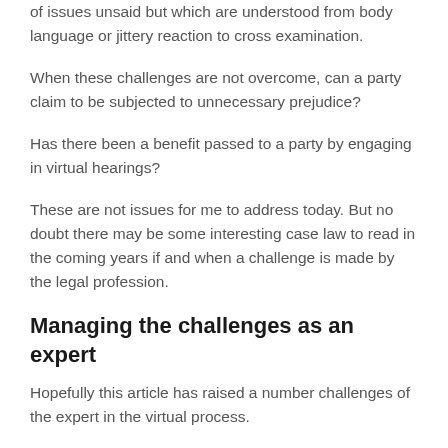of issues unsaid but which are understood from body language or jittery reaction to cross examination.
When these challenges are not overcome, can a party claim to be subjected to unnecessary prejudice?
Has there been a benefit passed to a party by engaging in virtual hearings?
These are not issues for me to address today. But no doubt there may be some interesting case law to read in the coming years if and when a challenge is made by the legal profession.
Managing the challenges as an expert
Hopefully this article has raised a number challenges of the expert in the virtual process.